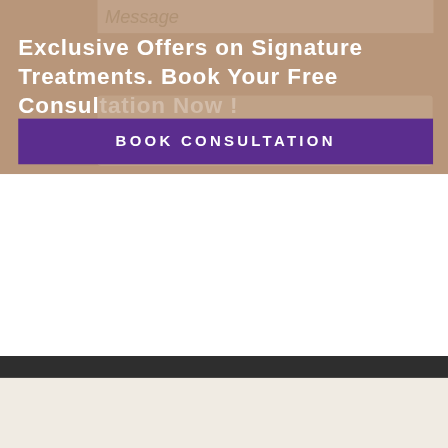Exclusive Offers on Signature Treatments. Book Your Free Consultation Now !
BOOK CONSULTATION
[Figure (logo): AJK Plastic Surgery cosmetic & reconstructive surgery logo in purple]
Surgical
Breast
Breast Augmentation
Breast Reduction
Breast Lift
Liposuction & body Contouring
Liposuction
Tummy Tuck